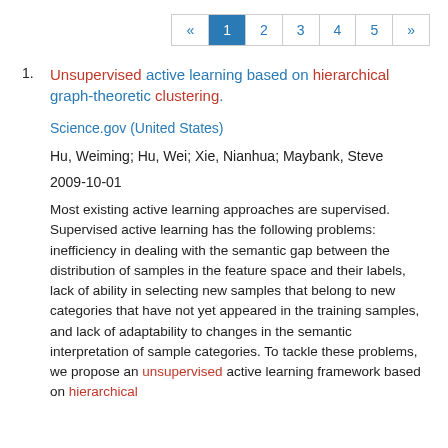« 1 2 3 4 5 »
Unsupervised active learning based on hierarchical graph-theoretic clustering.
Science.gov (United States)
Hu, Weiming; Hu, Wei; Xie, Nianhua; Maybank, Steve
2009-10-01
Most existing active learning approaches are supervised. Supervised active learning has the following problems: inefficiency in dealing with the semantic gap between the distribution of samples in the feature space and their labels, lack of ability in selecting new samples that belong to new categories that have not yet appeared in the training samples, and lack of adaptability to changes in the semantic interpretation of sample categories. To tackle these problems, we propose an unsupervised active learning framework based on hierarchical